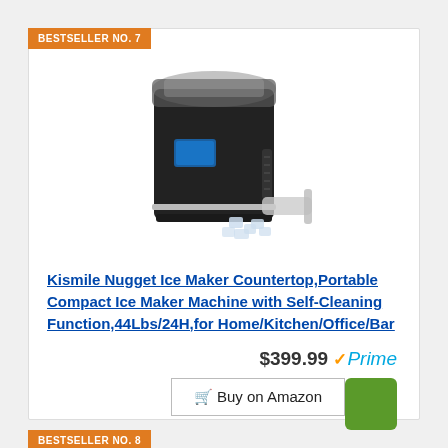BESTSELLER NO. 7
[Figure (photo): Black countertop nugget ice maker machine with transparent lid, blue LCD display panel, side ventilation, with an ice scoop and scattered ice cubes beside it.]
Kismile Nugget Ice Maker Countertop,Portable Compact Ice Maker Machine with Self-Cleaning Function,44Lbs/24H,for Home/Kitchen/Office/Bar
$399.99 ✓Prime
🛒 Buy on Amazon
BESTSELLER NO. 8